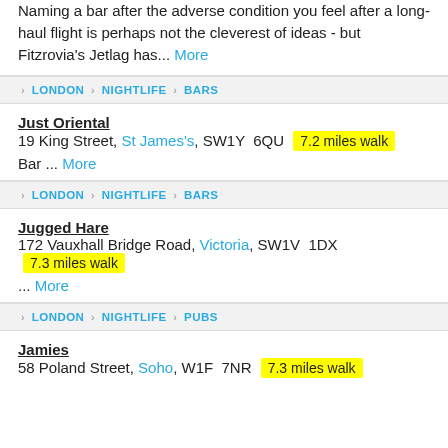Naming a bar after the adverse condition you feel after a long-haul flight is perhaps not the cleverest of ideas - but Fitzrovia's Jetlag has... More
LONDON > NIGHTLIFE > BARS
Just Oriental
19 King Street, St James's, SW1Y 6QU  7.2 miles walk
Bar ... More
LONDON > NIGHTLIFE > BARS
Jugged Hare
172 Vauxhall Bridge Road, Victoria, SW1V 1DX  7.3 miles walk ... More
LONDON > NIGHTLIFE > PUBS
Jamies
58 Poland Street, Soho, W1F 7NR  7.3 miles walk